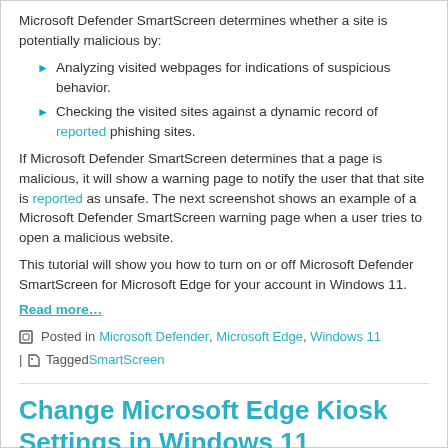Microsoft Defender SmartScreen determines whether a site is potentially malicious by:
Analyzing visited webpages for indications of suspicious behavior.
Checking the visited sites against a dynamic record of reported phishing sites.
If Microsoft Defender SmartScreen determines that a page is malicious, it will show a warning page to notify the user that that site is reported as unsafe. The next screenshot shows an example of a Microsoft Defender SmartScreen warning page when a user tries to open a malicious website.
This tutorial will show you how to turn on or off Microsoft Defender SmartScreen for Microsoft Edge for your account in Windows 11.
Read more…
Posted in Microsoft Defender, Microsoft Edge, Windows 11 | Tagged SmartScreen
Change Microsoft Edge Kiosk Settings in Windows 11